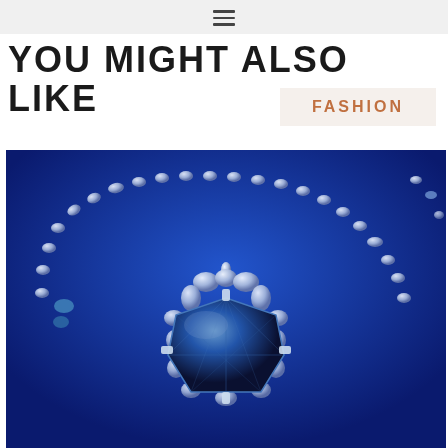☰
YOU MIGHT ALSO LIKE
FASHION
[Figure (photo): A diamond necklace featuring a large blue gemstone (Hope Diamond style) as a central pendant, surrounded by smaller white diamonds, on a bright blue background. The necklace chain is also set with diamonds and gemstones.]